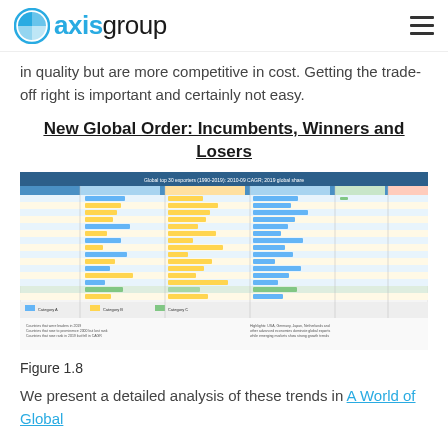axis group
in quality but are more competitive in cost. Getting the trade-off right is important and certainly not easy.
New Global Order: Incumbents, Winners and Losers
[Figure (table-as-image): Global top 30 exporters (1990-2019): 2010-09 CAGR; 2019 global share — a detailed multi-column table showing country rankings, export data with colored bar charts, flags, and various statistical columns]
Figure 1.8
We present a detailed analysis of these trends in A World of Global